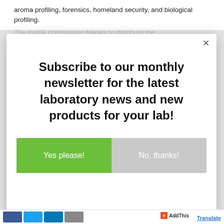aroma profiling, forensics, homeland security, and biological profiling.
The modal combination follows to distribute the…
[Figure (screenshot): Modal dialog popup with close button (×), headline text 'Subscribe to our monthly newsletter for the latest laboratory news and new products for your lab!', and two buttons: 'Yes please!' (green) and 'No, thanks!' (gray)]
AddThis | Translate